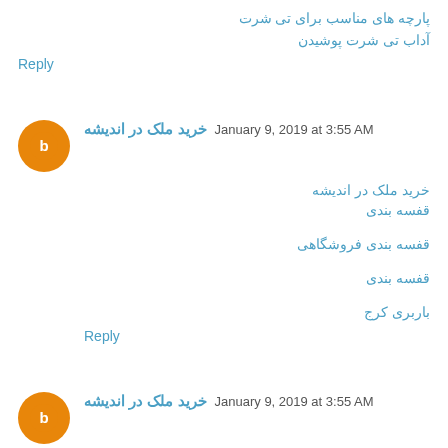پارچه های مناسب برای تی شرت
آداب تی شرت پوشیدن
Reply
خرید ملک در اندیشه  January 9, 2019 at 3:55 AM
خرید ملک در اندیشه
قفسه بندی
قفسه بندی فروشگاهی
قفسه بندی
باربری کرج
Reply
خرید ملک در اندیشه  January 9, 2019 at 3:55 AM
thnaks alot